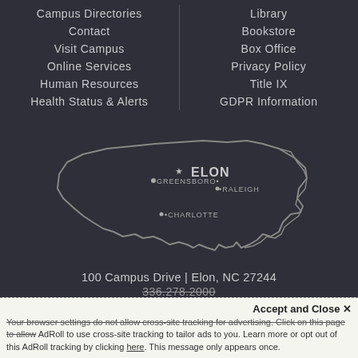Campus Directories
Contact
Visit Campus
Online Services
Human Resources
Health Status & Alerts
Library
Bookstore
Box Office
Privacy Policy
Title IX
GDPR Information
[Figure (map): Outline map of North Carolina with dots marking Greensboro, Elon (starred), Raleigh, and Charlotte]
100 Campus Drive | Elon, NC 27244
336.278.2000
Accept and Close ✕
Your browser settings do not allow cross-site tracking for advertising. Click on this page to allow AdRoll to use cross-site tracking to tailor ads to you. Learn more or opt out of this AdRoll tracking by clicking here. This message only appears once.